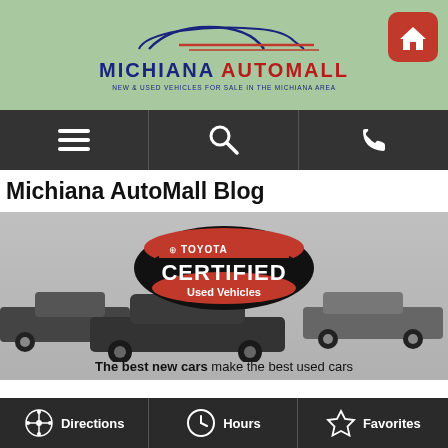[Figure (logo): Michiana AutoMall logo with car silhouette, text MICHIANA in dark blue and AUTOMALL in red, subtitle NEW & USED VEHICLES FOR SALE IN THE MICHIANA AREA, home icon button top right]
[Figure (screenshot): Dark navigation bar with hamburger menu icon, search icon, and phone icon]
Michiana AutoMall Blog
[Figure (photo): Toyota Certified Used Vehicles banner image showing multiple Toyota cars (sedan, truck, SUV) with Toyota Certified Used Vehicles oval badge overlay and text 'The best new cars make the best used cars']
Certified Toyotas For Sale in Michiana
Directions | Hours | Favorites